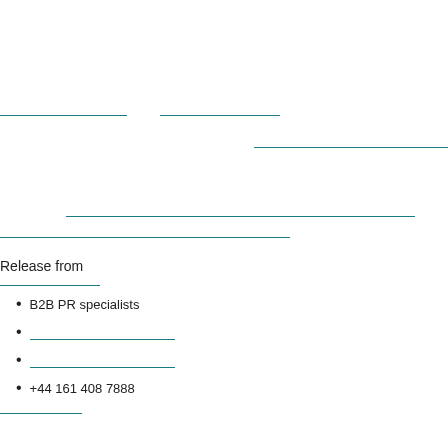Release from
B2B PR specialists
+44 161 408 7888